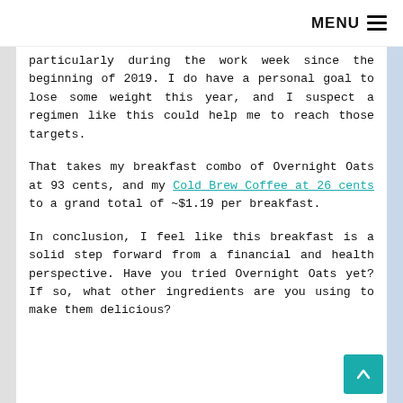MENU ☰
particularly during the work week since the beginning of 2019. I do have a personal goal to lose some weight this year, and I suspect a regimen like this could help me to reach those targets.
That takes my breakfast combo of Overnight Oats at 93 cents, and my Cold Brew Coffee at 26 cents to a grand total of ~$1.19 per breakfast.
In conclusion, I feel like this breakfast is a solid step forward from a financial and health perspective. Have you tried Overnight Oats yet? If so, what other ingredients are you using to make them delicious?